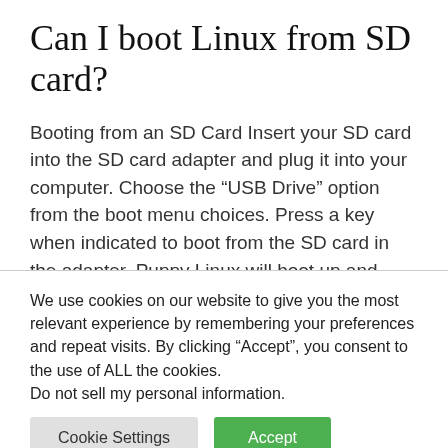Can I boot Linux from SD card?
Booting from an SD Card Insert your SD card into the SD card adapter and plug it into your computer. Choose the “USB Drive” option from the boot menu choices. Press a key when indicated to boot from the SD card in the adapter. Puppy Linux will boot up and launch.
We use cookies on our website to give you the most relevant experience by remembering your preferences and repeat visits. By clicking “Accept”, you consent to the use of ALL the cookies. Do not sell my personal information.
Cookie Settings  Accept